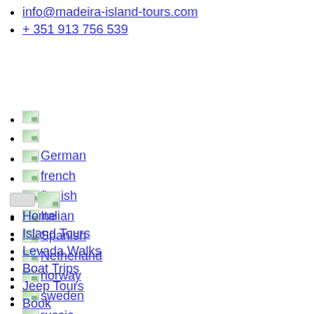info@madeira-island-tours.com
+ 351 913 756 539
[flag icon]
[flag icon]
German
french
finnish
Italian
Spanish
Netherland
norway
sweden
russia
Home
Island Tours
Levada Walks
Boat Trips
Jeep Tours
Book
Contact